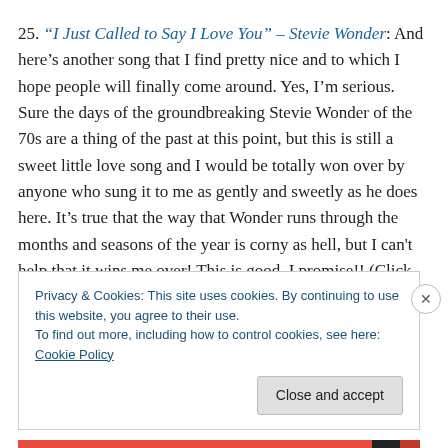25. "I Just Called to Say I Love You" – Stevie Wonder: And here's another song that I find pretty nice and to which I hope people will finally come around. Yes, I'm serious. Sure the days of the groundbreaking Stevie Wonder of the 70s are a thing of the past at this point, but this is still a sweet little love song and I would be totally won over by anyone who sung it to me as gently and sweetly as he does here. It's true that the way that Wonder runs through the months and seasons of the year is corny as hell, but I can't help that it wins me over! This is good, I promise!! (Click the link above for a full review)
Privacy & Cookies: This site uses cookies. By continuing to use this website, you agree to their use. To find out more, including how to control cookies, see here: Cookie Policy